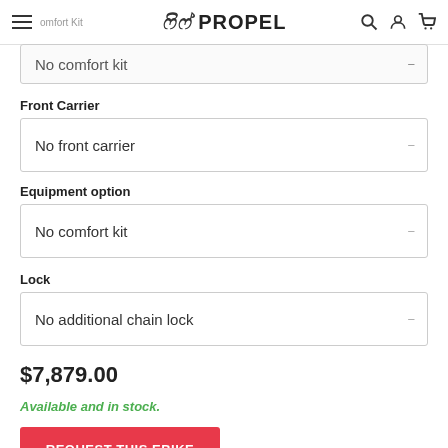eBike Propel — Comfort Kit
No comfort kit
Front Carrier
No front carrier
Equipment option
No comfort kit
Lock
No additional chain lock
$7,879.00
Available and in stock.
REQUEST THIS EBIKE